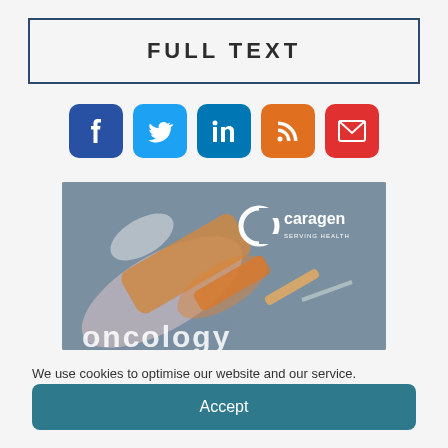FULL TEXT
[Figure (infographic): Social media icons: Facebook (blue), Twitter (light blue), LinkedIn (dark blue), RSS (orange), Email (red)]
[Figure (photo): Close-up photo of a medical syringe/needle with orange-tinted liquid and a Caragen Serving Health logo in the upper right. Text 'ONCOLOGY' partially visible at bottom.]
We use cookies to optimise our website and our service.
Accept